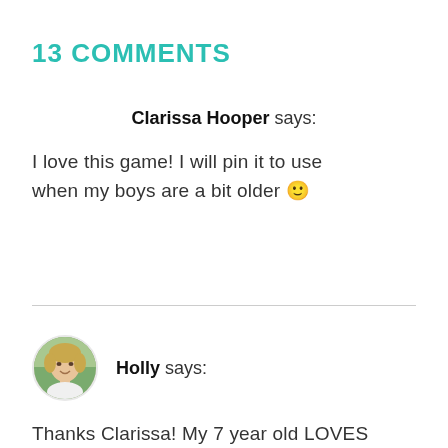13 COMMENTS
Clarissa Hooper says:
I love this game! I will pin it to use when my boys are a bit older 🙂
[Figure (photo): Circular avatar photo of Holly, a woman with light hair, smiling, with green background]
Holly says:
Thanks Clarissa! My 7 year old LOVES it. He was so proud to get them all in